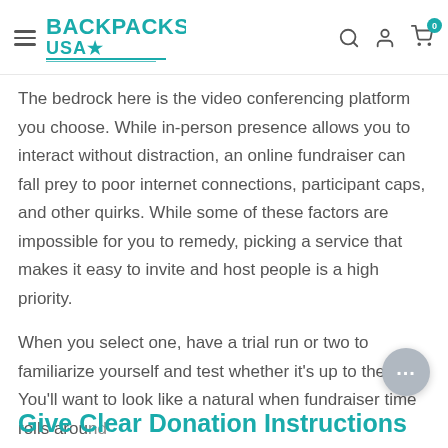BACKPACKS USA
The bedrock here is the video conferencing platform you choose. While in-person presence allows you to interact without distraction, an online fundraiser can fall prey to poor internet connections, participant caps, and other quirks. While some of these factors are impossible for you to remedy, picking a service that makes it easy to invite and host people is a high priority.
When you select one, have a trial run or two to familiarize yourself and test whether it's up to the task. You'll want to look like a natural when fundraiser time rolls around.
Give Clear Donation Instructions